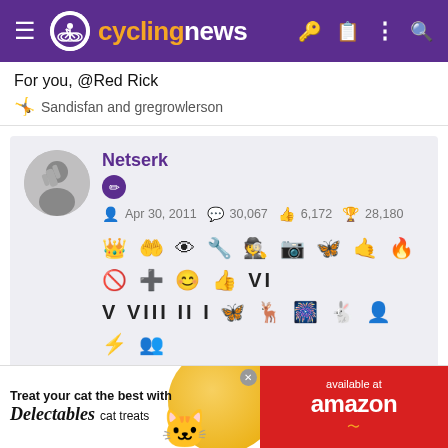cyclingnews
For you, @Red Rick
🤸 Sandisfan and gregrowlerson
[Figure (screenshot): User profile card for Netserk showing avatar, username, join date Apr 30 2011, 30,067 posts, 6,172 likes, 28,180 trophy points, and rows of achievement badges/icons]
May 26, 2022  #81
Vive EOLA-Kometa!
[Figure (photo): Advertisement: Treat your cat the best with Delectables cat treats, available at amazon]